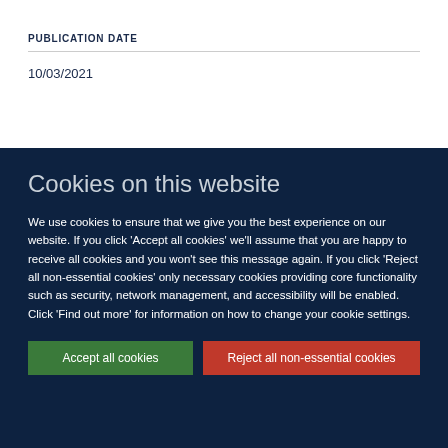PUBLICATION DATE
10/03/2021
Cookies on this website
We use cookies to ensure that we give you the best experience on our website. If you click 'Accept all cookies' we'll assume that you are happy to receive all cookies and you won't see this message again. If you click 'Reject all non-essential cookies' only necessary cookies providing core functionality such as security, network management, and accessibility will be enabled. Click 'Find out more' for information on how to change your cookie settings.
Accept all cookies
Reject all non-essential cookies